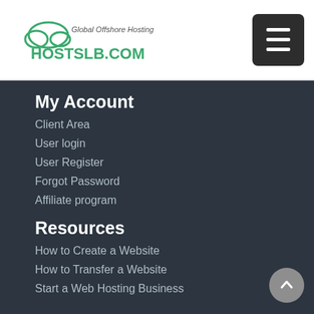Global Offshore Hosting HOSTSLB.COM
My Account
Client Area
User login
User Register
Forgot Password
Affiliate program
Resources
How to Create a Website
How to Transfer a Website
Start a Web Hosting Business